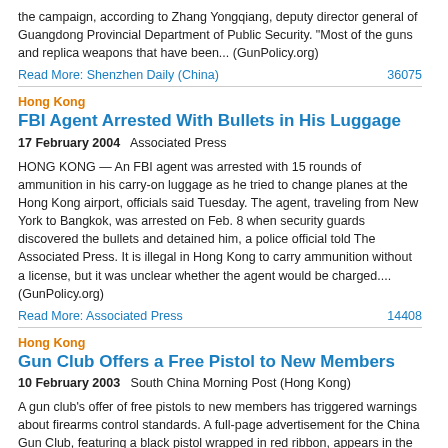the campaign, according to Zhang Yongqiang, deputy director general of Guangdong Provincial Department of Public Security. "Most of the guns and replica weapons that have been... (GunPolicy.org)
Read More: Shenzhen Daily (China)    36075
Hong Kong
FBI Agent Arrested With Bullets in His Luggage
17 February 2004    Associated Press
HONG KONG — An FBI agent was arrested with 15 rounds of ammunition in his carry-on luggage as he tried to change planes at the Hong Kong airport, officials said Tuesday. The agent, traveling from New York to Bangkok, was arrested on Feb. 8 when security guards discovered the bullets and detained him, a police official told The Associated Press. It is illegal in Hong Kong to carry ammunition without a license, but it was unclear whether the agent would be charged.... (GunPolicy.org)
Read More: Associated Press    14408
Hong Kong
Gun Club Offers a Free Pistol to New Members
10 February 2003    South China Morning Post (Hong Kong)
A gun club's offer of free pistols to new members has triggered warnings about firearms control standards. A full-page advertisement for the China Gun Club, featuring a black pistol wrapped in red ribbon, appears in the latest Next Magazine. With the words "you want me … join and get me", the recruitment drive encourages potential members to take advantage of the offer and sign